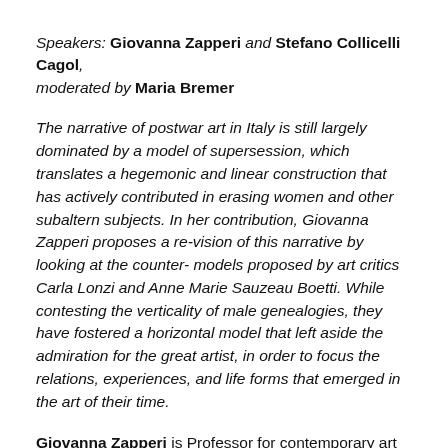Speakers: Giovanna Zapperi and Stefano Collicelli Cagol, moderated by Maria Bremer
The narrative of postwar art in Italy is still largely dominated by a model of supersession, which translates a hegemonic and linear construction that has actively contributed in erasing women and other subaltern subjects. In her contribution, Giovanna Zapperi proposes a re-vision of this narrative by looking at the counter-models proposed by art critics Carla Lonzi and Anne Marie Sauzeau Boetti. While contesting the verticality of male genealogies, they have fostered a horizontal model that left aside the admiration for the great artist, in order to focus the relations, experiences, and life forms that emerged in the art of their time.
Giovanna Zapperi is Professor for contemporary art...